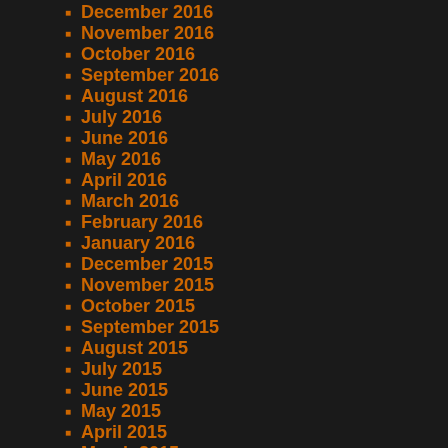December 2016
November 2016
October 2016
September 2016
August 2016
July 2016
June 2016
May 2016
April 2016
March 2016
February 2016
January 2016
December 2015
November 2015
October 2015
September 2015
August 2015
July 2015
June 2015
May 2015
April 2015
March 2015